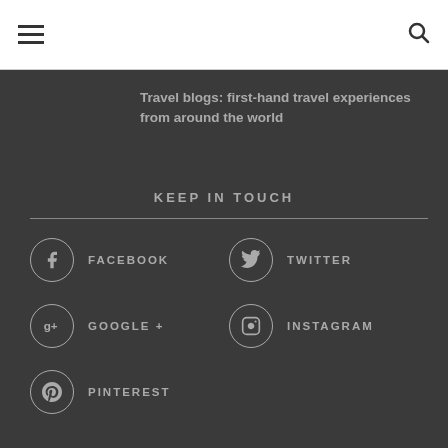☰ [menu] | 🔍 [search]
Travel blogs: first-hand travel experiences from around the world
KEEP IN TOUCH
FACEBOOK
TWITTER
GOOGLE +
INSTAGRAM
PINTEREST